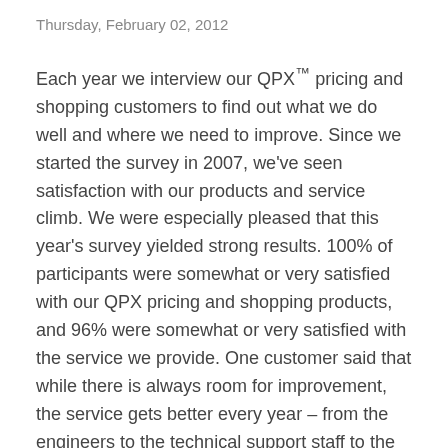Thursday, February 02, 2012
Each year we interview our QPX™ pricing and shopping customers to find out what we do well and where we need to improve. Since we started the survey in 2007, we've seen satisfaction with our products and service climb. We were especially pleased that this year's survey yielded strong results. 100% of participants were somewhat or very satisfied with our QPX pricing and shopping products, and 96% were somewhat or very satisfied with the service we provide. One customer said that while there is always room for improvement, the service gets better every year – from the engineers to the technical support staff to the customer-facing team.
Read More